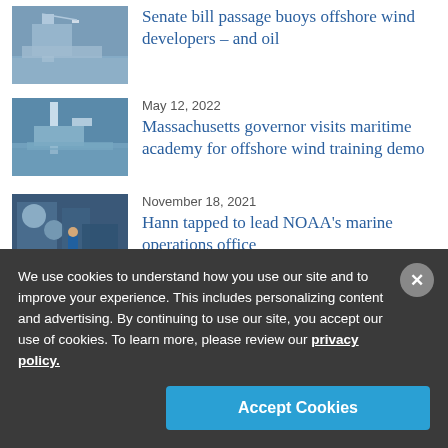[Figure (photo): Offshore wind/oil platform at sea with crane]
Senate bill passage buoys offshore wind developers – and oil
May 12, 2022
[Figure (photo): Vessel at sea related to offshore wind training]
Massachusetts governor visits maritime academy for offshore wind training demo
November 18, 2021
[Figure (photo): NOAA marine operations equipment with worker in blue jacket]
Hann tapped to lead NOAA's marine operations office
We use cookies to understand how you use our site and to improve your experience. This includes personalizing content and advertising. By continuing to use our site, you accept our use of cookies. To learn more, please review our privacy policy.